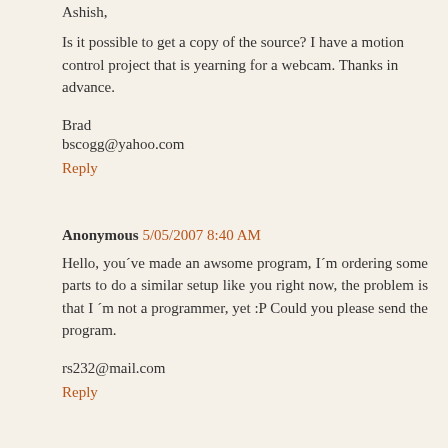Ashish,
Is it possible to get a copy of the source? I have a motion control project that is yearning for a webcam. Thanks in advance.
Brad
bscogg@yahoo.com
Reply
Anonymous 5/05/2007 8:40 AM
Hello, you´ve made an awsome program, I´m ordering some parts to do a similar setup like you right now, the problem is that I ´m not a programmer, yet :P Could you please send the program.
rs232@mail.com
Reply
Anonymous 5/20/2007 11:24 PM
This is a very cool program. I have wanted to do that kind of